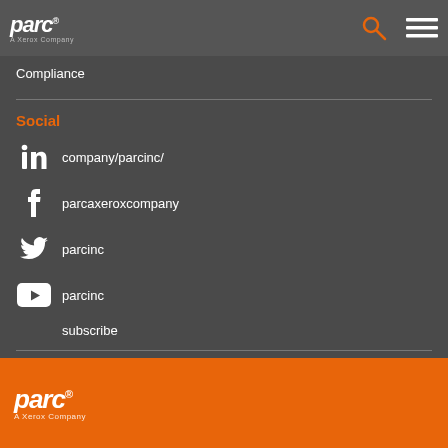parc - A Xerox Company
Compliance
Social
company/parcinc/
parcaxeroxcompany
parcinc
parcinc
subscribe
Xerox Ventures
parc - A Xerox Company